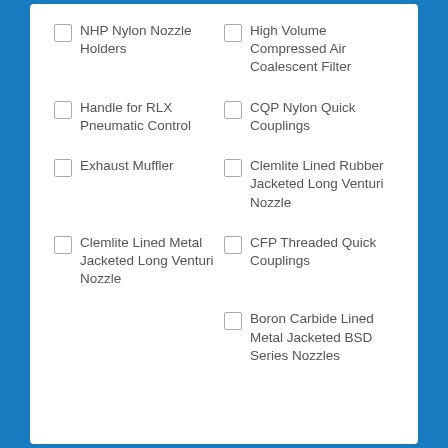NHP Nylon Nozzle Holders
High Volume Compressed Air Coalescent Filter
Handle for RLX Pneumatic Control
CQP Nylon Quick Couplings
Exhaust Muffler
Clemlite Lined Rubber Jacketed Long Venturi Nozzle
Clemlite Lined Metal Jacketed Long Venturi Nozzle
CFP Threaded Quick Couplings
Boron Carbide Lined Metal Jacketed BSD Series Nozzles
Comments